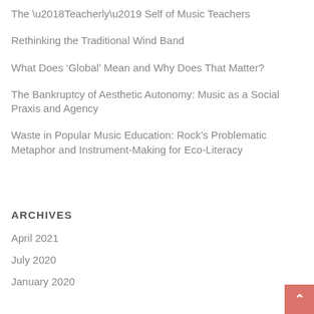The ‘Teacherly’ Self of Music Teachers
Rethinking the Traditional Wind Band
What Does ‘Global’ Mean and Why Does That Matter?
The Bankruptcy of Aesthetic Autonomy: Music as a Social Praxis and Agency
Waste in Popular Music Education: Rock’s Problematic Metaphor and Instrument-Making for Eco-Literacy
ARCHIVES
April 2021
July 2020
January 2020